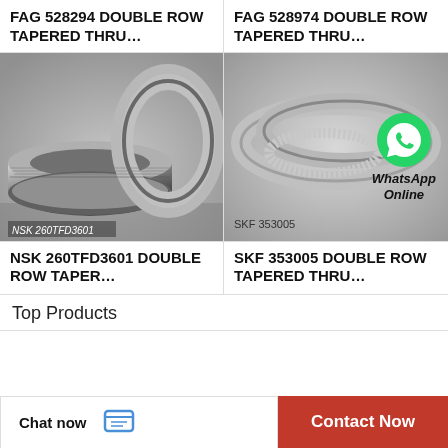FAG 528294 DOUBLE ROW TAPERED THRU…
FAG 528974 DOUBLE ROW TAPERED THRU…
[Figure (photo): NSK 260TFD3601 double row tapered thrust bearing, metallic silver, shown disassembled]
[Figure (photo): SKF 353005 double row tapered thrust bearing rings with WhatsApp Online overlay]
NSK 260TFD3601 DOUBLE ROW TAPER…
SKF 353005 DOUBLE ROW TAPERED THRU…
Top Products
Chat now
Contact Now